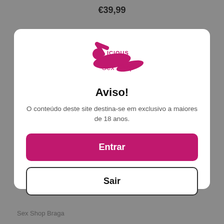€39,99
[Figure (logo): Vicious Sex Shop logo with pink silhouette figure and magenta text]
Aviso!
O conteúdo deste site destina-se em exclusivo a maiores de 18 anos.
Entrar
Sair
Sex Shop Braga